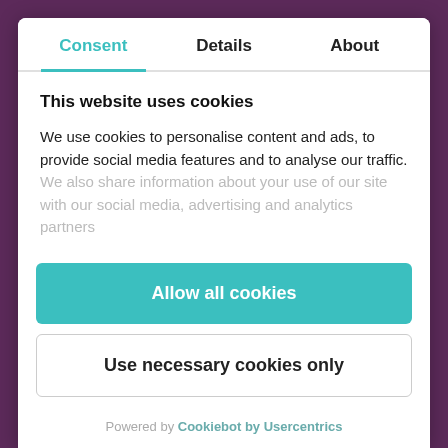Consent | Details | About
This website uses cookies
We use cookies to personalise content and ads, to provide social media features and to analyse our traffic. We also share information about your use of our site with our social media, advertising and analytics partners
Allow all cookies
Use necessary cookies only
Powered by Cookiebot by Usercentrics